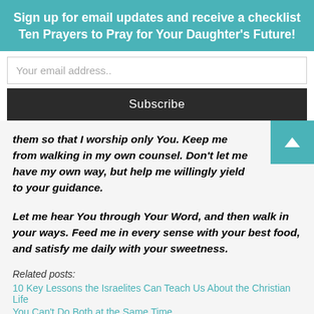Sign up for email updates and receive a checklist Ten Prayers to Pray for Your Daughter's Future!
Your email address..
Subscribe
them so that I worship only You.  Keep me from walking in my own counsel.  Don't let me have my own way, but help me willingly yield to your guidance.
Let me hear You through Your Word, and then walk in your ways.  Feed me in every sense with your best food, and satisfy me daily with your sweetness.
Related posts:
10 Key Lessons the Israelites Can Teach Us About the Christian Life
You Can't Do Both at the Same Time